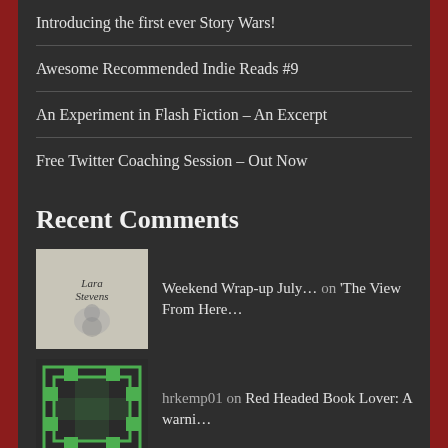Introducing the first ever Story Wars!
Awesome Recommended Indie Reads #9
An Experiment in Flash Fiction – An Excerpt
Free Twitter Coaching Session – Out Now
Recent Comments
Weekend Wrap-up July… on 'The View From Here…
hrkemp01 on Red Headed Book Lover: A warni…
Lee Hall on The Twitter Bar Analogy: Creat…
Have You Read The Qu… on Prodigal Sun by Christina Enge…